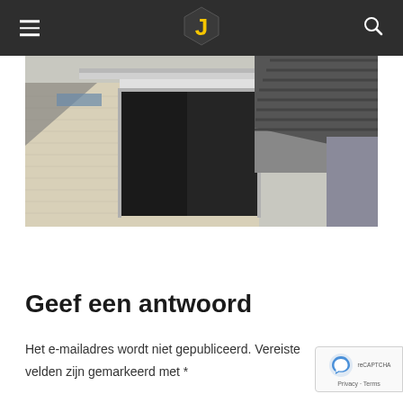Navigation header with hamburger menu, logo, and search icon
[Figure (photo): Exterior photo of a Dutch house showing a sliding glass door, white brick wall, roller shutter, and dark tiled roof]
Geef een antwoord
Het e-mailadres wordt niet gepubliceerd. Vereiste velden zijn gemarkeerd met *